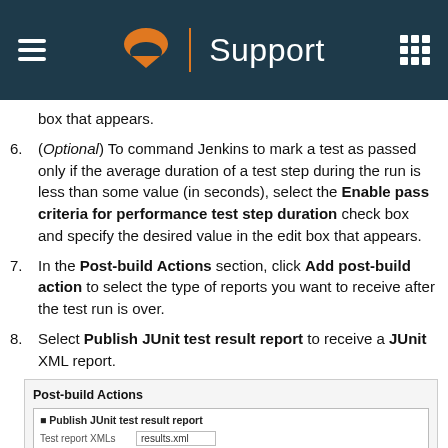Support
box that appears.
(Optional) To command Jenkins to mark a test as passed only if the average duration of a test step during the run is less than some value (in seconds), select the Enable pass criteria for performance test step duration check box and specify the desired value in the edit box that appears.
In the Post-build Actions section, click Add post-build action to select the type of reports you want to receive after the test run is over.
Select Publish JUnit test result report to receive a JUnit XML report.
[Figure (screenshot): Screenshot of Post-build Actions panel showing Publish JUnit test result report option with Test report XMLs field filled with 'results.xml' and a Preset 'includes' setting link.]